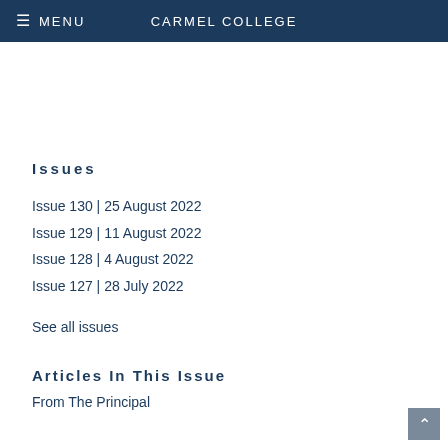≡ MENU   CARMEL COLLEGE
Issues
Issue 130  |  25 August 2022
Issue 129  |  11 August 2022
Issue 128  |  4 August 2022
Issue 127  |  28 July 2022
See all issues
Articles In This Issue
From The Principal